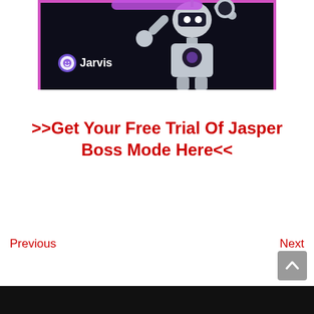[Figure (screenshot): Screenshot of Jarvis/Jasper AI robot branding image on dark background with robot figure and Jarvis logo]
>>Get Your Free Trial Of Jasper Boss Mode Here<<
Previous
Next